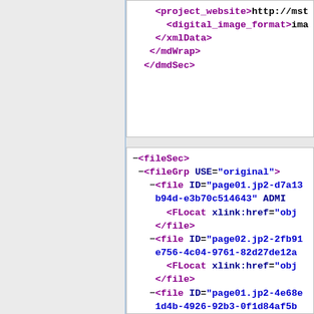XML code snippet showing dmdSec closing tags: </xmlData>, </mdWrap>, </dmdSec>
XML code snippet showing fileSec, fileGrp, and multiple file elements with IDs and FLocat xlink:href attributes